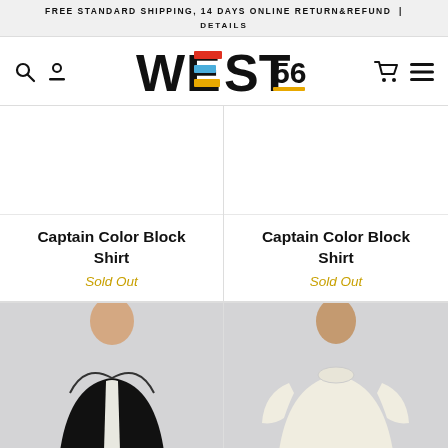FREE STANDARD SHIPPING, 14 DAYS ONLINE RETURN&REFUND | DETAILS
[Figure (logo): WEST56 logo with colored horizontal bars inside the letters]
[Figure (photo): White/blank product image area for Captain Color Block Shirt (left)]
[Figure (photo): White/blank product image area for Captain Color Block Shirt (right)]
Captain Color Block Shirt
Sold Out
Captain Color Block Shirt
Sold Out
[Figure (photo): Woman wearing black zip-up hoodie with white interior, light grey background]
[Figure (photo): Man wearing white long-sleeve shirt, light grey background]